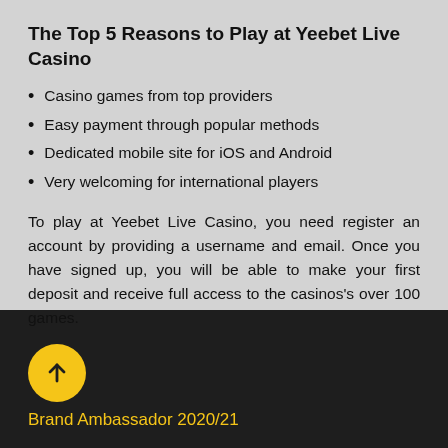The Top 5 Reasons to Play at Yeebet Live Casino
Casino games from top providers
Easy payment through popular methods
Dedicated mobile site for iOS and Android
Very welcoming for international players
To play at Yeebet Live Casino, you need register an account by providing a username and email. Once you have signed up, you will be able to make your first deposit and receive full access to the casinos's over 100 games.
[Figure (illustration): Yellow circle with upward arrow icon]
Brand Ambassador 2020/21